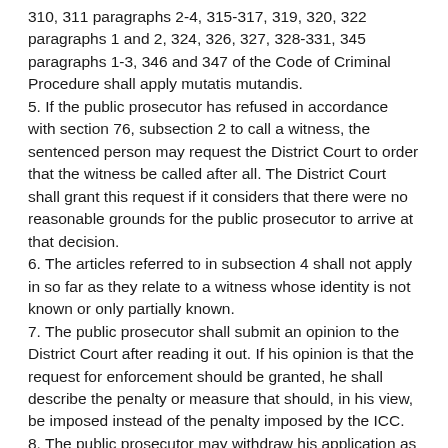310, 311 paragraphs 2-4, 315-317, 319, 320, 322 paragraphs 1 and 2, 324, 326, 327, 328-331, 345 paragraphs 1-3, 346 and 347 of the Code of Criminal Procedure shall apply mutatis mutandis.
5. If the public prosecutor has refused in accordance with section 76, subsection 2 to call a witness, the sentenced person may request the District Court to order that the witness be called after all. The District Court shall grant this request if it considers that there were no reasonable grounds for the public prosecutor to arrive at that decision.
6. The articles referred to in subsection 4 shall not apply in so far as they relate to a witness whose identity is not known or only partially known.
7. The public prosecutor shall submit an opinion to the District Court after reading it out. If his opinion is that the request for enforcement should be granted, he shall describe the penalty or measure that should, in his view, be imposed instead of the penalty imposed by the ICC.
8. The public prosecutor may withdraw his application as referred to in section 73 provided that the